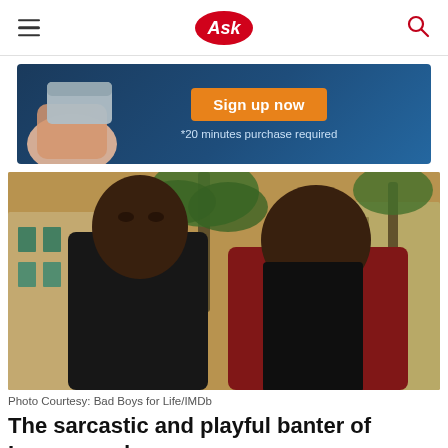Ask
[Figure (infographic): Advertisement banner with dark blue background, a hand holding a card on the left, an orange 'Sign up now' button, and text '*20 minutes purchase required']
[Figure (photo): Two men standing outdoors near palm trees and a building, one wearing a black shirt and the other wearing a dark red jacket with a cross necklace. Scene from Bad Boys for Life.]
Photo Courtesy: Bad Boys for Life/IMDb
The sarcastic and playful banter of Lowrey and